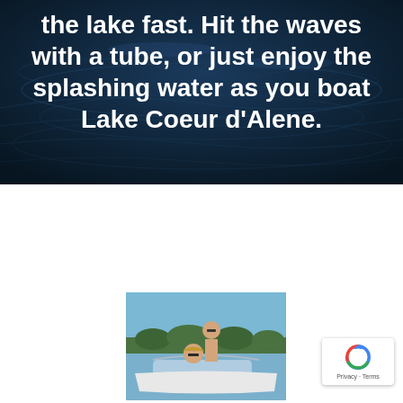[Figure (photo): Dark blue water/lake background with white text overlay. Top portion of a webpage promoting Lake Coeur d'Alene boating activities.]
the lake fast. Hit the waves with a tube, or just enjoy the splashing water as you boat Lake Coeur d'Alene.
[Figure (photo): A couple on a boat on Lake Coeur d'Alene. A man standing shirtless at the helm and a woman in sunglasses in the foreground, with a forested shoreline and blue sky in the background.]